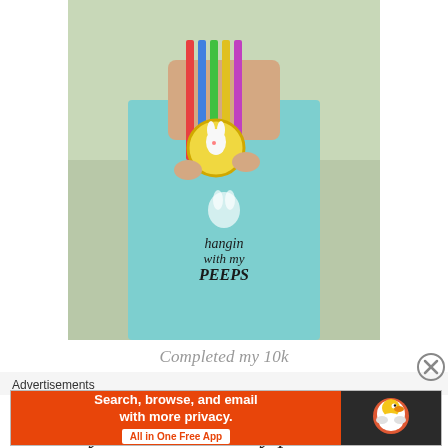[Figure (photo): Person wearing a light blue tank top that reads 'hangin with my PEEPS' with a bunny graphic, holding a race medal with colorful ribbons against an outdoor background.]
Completed my 10k
Bunny Hop virtual race
My 5 mile run today put me over another milestone...101.7 miles since March 1st when I made my training
Advertisements
[Figure (screenshot): DuckDuckGo advertisement banner: 'Search, browse, and email with more privacy. All in One Free App' with DuckDuckGo duck logo on dark background.]